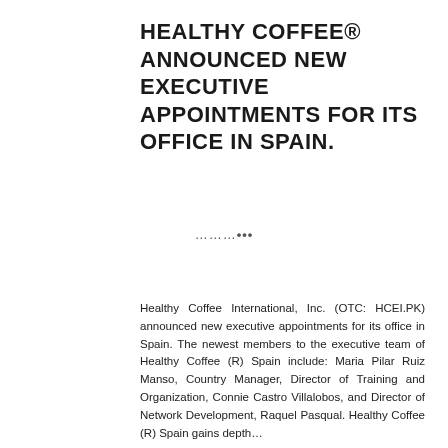HEALTHY COFFEE® ANNOUNCED NEW EXECUTIVE APPOINTMENTS FOR ITS OFFICE IN SPAIN.
………•••
Healthy Coffee International, Inc. (OTC: HCEI.PK) announced new executive appointments for its office in Spain. The newest members to the executive team of Healthy Coffee (R) Spain include: Maria Pilar Ruiz Manso, Country Manager, Director of Training and Organization, Connie Castro Villalobos, and Director of Network Development, Raquel Pasqual. Healthy Coffee (R) Spain gains depth…